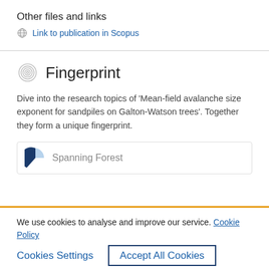Other files and links
Link to publication in Scopus
Fingerprint
Dive into the research topics of 'Mean-field avalanche size exponent for sandpiles on Galton-Watson trees'. Together they form a unique fingerprint.
Spanning Forest
We use cookies to analyse and improve our service. Cookie Policy
Cookies Settings
Accept All Cookies